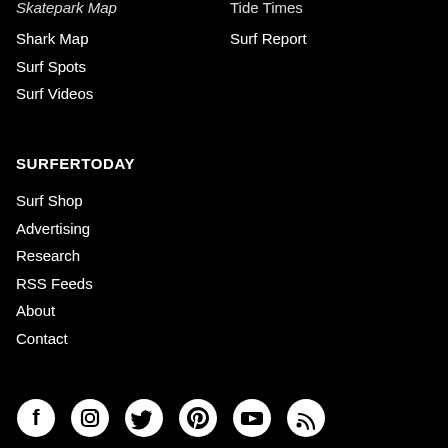Skatepark Map
Shark Map
Surf Spots
Surf Videos
Tide Times
Surf Report
SURFERTODAY
Surf Shop
Advertising
Research
RSS Feeds
About
Contact
[Figure (infographic): Row of social media icons: Facebook, Instagram, Twitter, Pinterest, YouTube, RSS]